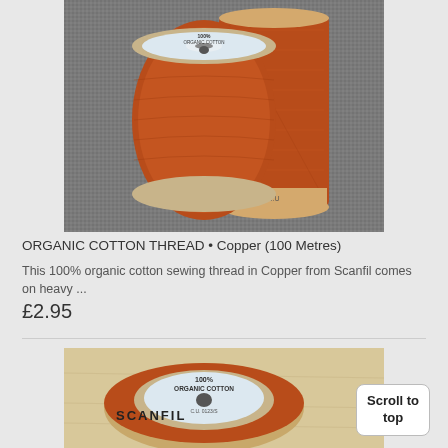[Figure (photo): Two spools of copper/rust-orange colored organic cotton thread by Scanfil on a grey textured background. One spool faces forward showing a light blue and cream label with '100% ORGANIC COTTON' text, and another spool leans behind it showing the rust-orange thread wound around it.]
ORGANIC COTTON THREAD • Copper (100 Metres)
This 100% organic cotton sewing thread in Copper from Scanfil comes on heavy ...
£2.95
[Figure (photo): A single flat spool of Scanfil 100% organic cotton thread viewed from above at a slight angle, showing the top label which reads '100% ORGANIC COTTON' with the Scanfil logo and product details, placed on a light wood surface.]
Scroll to top